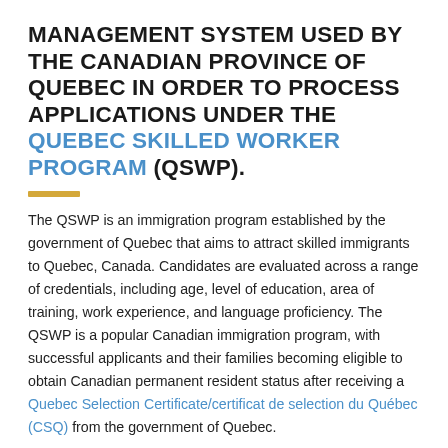MANAGEMENT SYSTEM USED BY THE CANADIAN PROVINCE OF QUEBEC IN ORDER TO PROCESS APPLICATIONS UNDER THE QUEBEC SKILLED WORKER PROGRAM (QSWP).
The QSWP is an immigration program established by the government of Quebec that aims to attract skilled immigrants to Quebec, Canada. Candidates are evaluated across a range of credentials, including age, level of education, area of training, work experience, and language proficiency. The QSWP is a popular Canadian immigration program, with successful applicants and their families becoming eligible to obtain Canadian permanent resident status after receiving a Quebec Selection Certificate/certificat de selection du Québec (CSQ) from the government of Quebec.